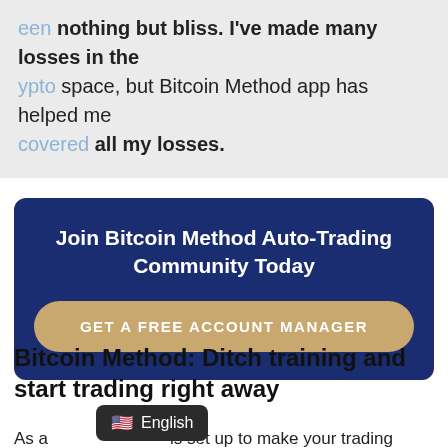een nothing but bliss. I've made many losses in the ypto space, but Bitcoin Method app has helped me covered all my losses.
[Figure (infographic): Dark blue CTA banner with title 'Join Bitcoin Method Auto-Trading Community Today' and a gold/tan button labeled 'GET A FREE ACCOUNT MANAGER']
Bitcoin Method: Ditch training and start trading right away
As a                  is set up to make your trading journey as